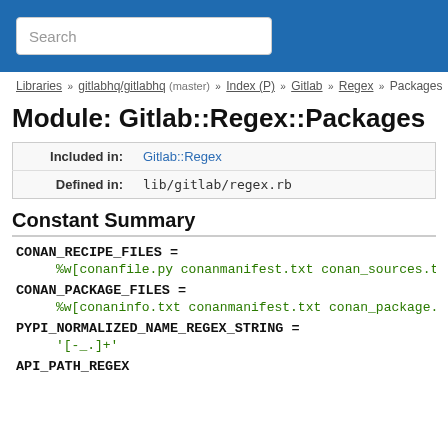Search
Libraries » gitlabhq/gitlabhq (master) » Index (P) » Gitlab » Regex » Packages
Module: Gitlab::Regex::Packages
| Included in: | Gitlab::Regex |
| Defined in: | lib/gitlab/regex.rb |
Constant Summary
CONAN_RECIPE_FILES =
%w[conanfile.py conanmanifest.txt conan_sources.t
CONAN_PACKAGE_FILES =
%w[conaninfo.txt conanmanifest.txt conan_package.
PYPI_NORMALIZED_NAME_REGEX_STRING =
'[-_.]+'
API_PATH_REGEX